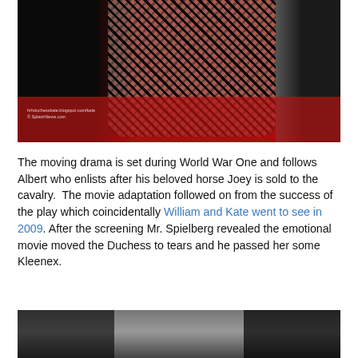[Figure (photo): Close-up photo of a woman in a black lace dress on a red carpet, partially visible from waist down. Dark background with red carpet visible. Watermark text visible in lower left.]
The moving drama is set during World War One and follows Albert who enlists after his beloved horse Joey is sold to the cavalry.  The movie adaptation followed on from the success of the play which coincidentally William and Kate went to see in 2009. After the screening Mr. Spielberg revealed the emotional movie moved the Duchess to tears and he passed her some Kleenex.
[Figure (photo): Partial photo at bottom of page showing a person, cropped — only top of head and background visible.]